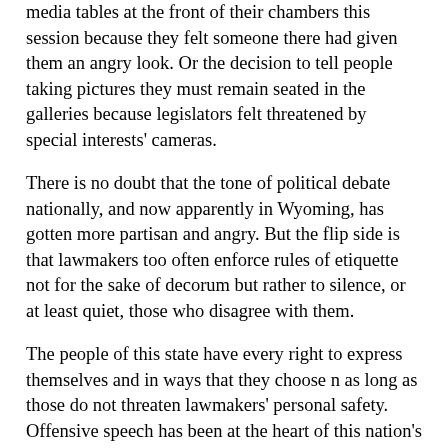media tables at the front of their chambers this session because they felt someone there had given them an angry look. Or the decision to tell people taking pictures they must remain seated in the galleries because legislators felt threatened by special interests' cameras.
There is no doubt that the tone of political debate nationally, and now apparently in Wyoming, has gotten more partisan and angry. But the flip side is that lawmakers too often enforce rules of etiquette not for the sake of decorum but rather to silence, or at least quiet, those who disagree with them.
The people of this state have every right to express themselves and in ways that they choose n as long as those do not threaten lawmakers' personal safety. Offensive speech has been at the heart of this nation's political debate since its founding.
Still, interest groups might lower their tone a bit, if only so they can better get their ideas across. But lawmakers must learn to deal with some of those heated words. They were